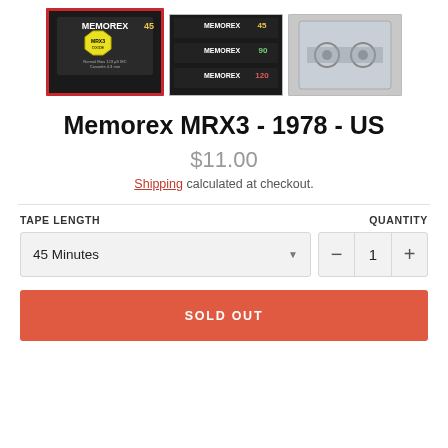[Figure (photo): Three product thumbnail images of Memorex MRX3 cassette tapes. The first (left) has a red border/selected state showing a single black cassette tape with a yellow MRX3 Oxide sticker. The middle image shows three cassette tapes stacked (45, 90, 120 minute versions). The right image shows a single cassette tape in clear packaging.]
Memorex MRX3 - 1978 - US
$11.00
Shipping calculated at checkout.
TAPE LENGTH
QUANTITY
45 Minutes
1
SOLD OUT